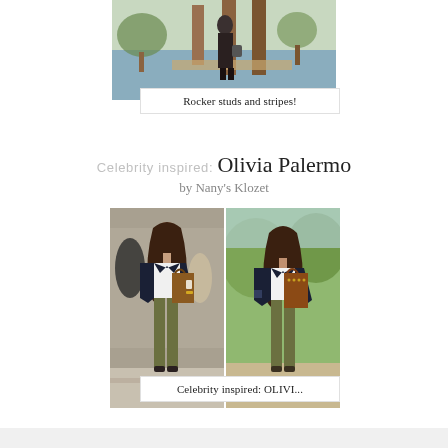[Figure (photo): Person in dark outfit standing on a wooden dock near water, with wooden pillars visible]
Rocker studs and stripes!
Celebrity inspired: Olivia Palermo by Nany's Klozet
[Figure (photo): Two side-by-side photos of a woman styled like Olivia Palermo: navy blazer, white tee, olive pants, and brown bag]
Celebrity inspired: OLIVI...